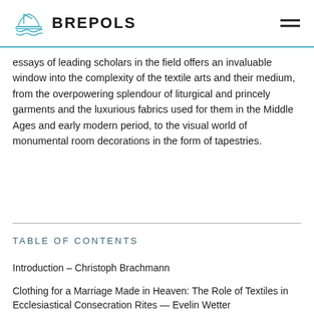BREPOLS
essays of leading scholars in the field offers an invaluable window into the complexity of the textile arts and their medium, from the overpowering splendour of liturgical and princely garments and the luxurious fabrics used for them in the Middle Ages and early modern period, to the visual world of monumental room decorations in the form of tapestries.
TABLE OF CONTENTS
Introduction – Christoph Brachmann
Clothing for a Marriage Made in Heaven: The Role of Textiles in Ecclesiastical Consecration Rites — Evelin Wetter